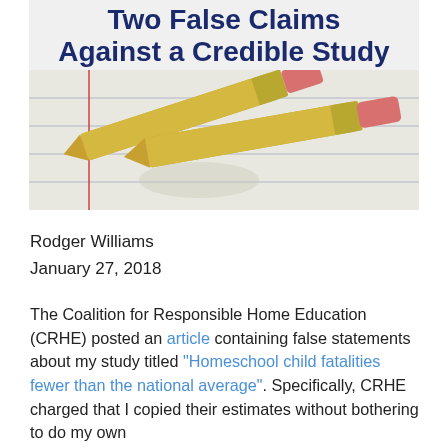[Figure (photo): Article header image with title 'Two False Claims Against a Credible Study' in bold dark blue text overlaid on a photo of pencils with pink erasers resting on lined notebook paper]
Rodger Williams
January 27, 2018
The Coalition for Responsible Home Education (CRHE) posted an article containing false statements about my study titled “Homeschool child fatalities fewer than the national average”. Specifically, CRHE charged that I copied their estimates without bothering to do my own